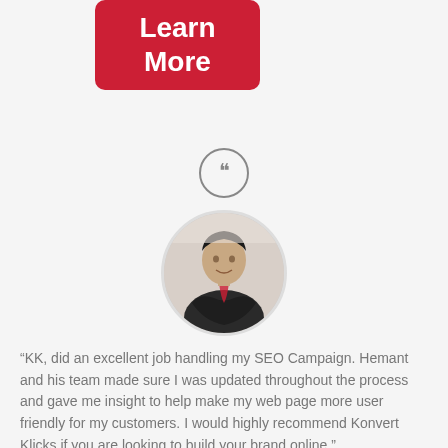[Figure (other): Red rounded rectangle button with text 'Learn More' in white bold font]
[Figure (other): Circular quote icon with double closing quotation marks, outlined circle border]
[Figure (photo): Circular cropped headshot photo of a man in a dark suit with arms crossed, light background]
“KK, did an excellent job handling my SEO Campaign. Hemant and his team made sure I was updated throughout the process and gave me insight to help make my web page more user friendly for my customers. I would highly recommend Konvert Klicks if you are looking to build your brand online.”